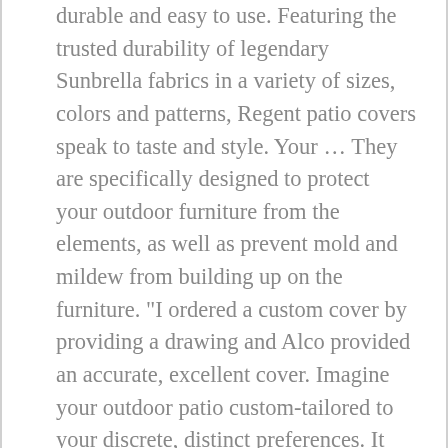durable and easy to use. Featuring the trusted durability of legendary Sunbrella fabrics in a variety of sizes, colors and patterns, Regent patio covers speak to taste and style. Your … They are specifically designed to protect your outdoor furniture from the elements, as well as prevent mold and mildew from building up on the furniture. "I ordered a custom cover by providing a drawing and Alco provided an accurate, excellent cover. Imagine your outdoor patio custom-tailored to your discrete, distinct preferences. It used to be that people only covered their outdoor furniture in the winter. Sunbrella is here for you. Need matching patio cushions. Free shipping nationwide. If you want your backyard to look like a world class resort you came to the right place. They are specifically designed to protect your outdoor furniture from the elements, as well as prevent mold and mildew from building up on the